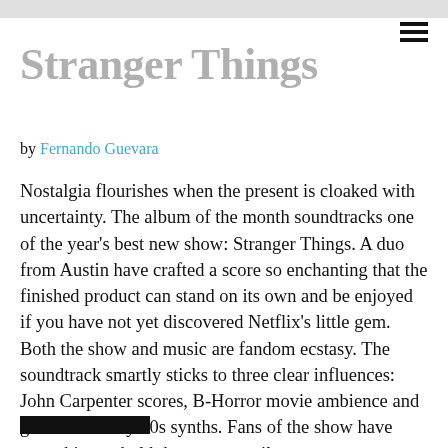Stranger Things
by Fernando Guevara
Nostalgia flourishes when the present is cloaked with uncertainty. The album of the month soundtracks one of the year's best new show: Stranger Things. A duo from Austin have crafted a score so enchanting that the finished product can stand on its own and be enjoyed if you have not yet discovered Netflix's little gem. Both the show and music are fandom ecstasy. The soundtrack smartly sticks to three clear influences: John Carpenter scores, B-Horror movie ambience and glorious cheesy 80s synths. Fans of the show have something to hold them over until season two.